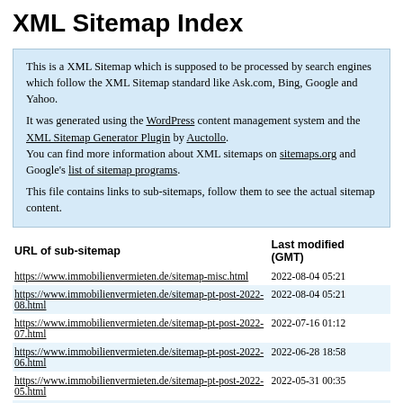XML Sitemap Index
This is a XML Sitemap which is supposed to be processed by search engines which follow the XML Sitemap standard like Ask.com, Bing, Google and Yahoo.
It was generated using the WordPress content management system and the XML Sitemap Generator Plugin by Auctollo.
You can find more information about XML sitemaps on sitemaps.org and Google's list of sitemap programs.

This file contains links to sub-sitemaps, follow them to see the actual sitemap content.
| URL of sub-sitemap | Last modified (GMT) |
| --- | --- |
| https://www.immobilienvermieten.de/sitemap-misc.html | 2022-08-04 05:21 |
| https://www.immobilienvermieten.de/sitemap-pt-post-2022-08.html | 2022-08-04 05:21 |
| https://www.immobilienvermieten.de/sitemap-pt-post-2022-07.html | 2022-07-16 01:12 |
| https://www.immobilienvermieten.de/sitemap-pt-post-2022-06.html | 2022-06-28 18:58 |
| https://www.immobilienvermieten.de/sitemap-pt-post-2022-05.html | 2022-05-31 00:35 |
| https://www.immobilienvermieten.de/sitemap-pt-post-2022-04.html | 2022-04-26 12:14 |